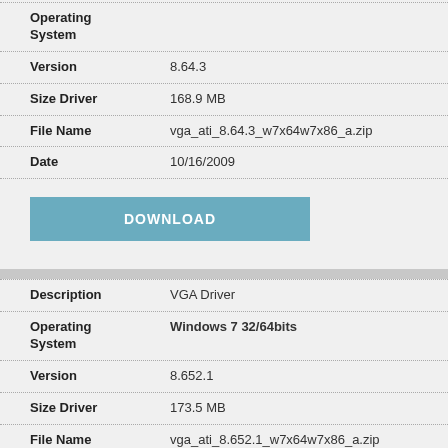| Field | Value |
| --- | --- |
| Operating System |  |
| Version | 8.64.3 |
| Size Driver | 168.9 MB |
| File Name | vga_ati_8.64.3_w7x64w7x86_a.zip |
| Date | 10/16/2009 |
[Figure (other): DOWNLOAD button]
| Field | Value |
| --- | --- |
| Description | VGA Driver |
| Operating System | Windows 7 32/64bits |
| Version | 8.652.1 |
| Size Driver | 173.5 MB |
| File Name | vga_ati_8.652.1_w7x64w7x86_a.zip |
| Date | 10/15/2009 |